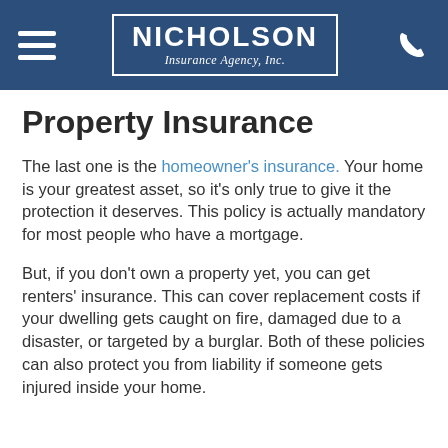NICHOLSON Insurance Agency, Inc.
Property Insurance
The last one is the homeowner's insurance. Your home is your greatest asset, so it's only true to give it the protection it deserves. This policy is actually mandatory for most people who have a mortgage.
But, if you don't own a property yet, you can get renters' insurance. This can cover replacement costs if your dwelling gets caught on fire, damaged due to a disaster, or targeted by a burglar. Both of these policies can also protect you from liability if someone gets injured inside your home.